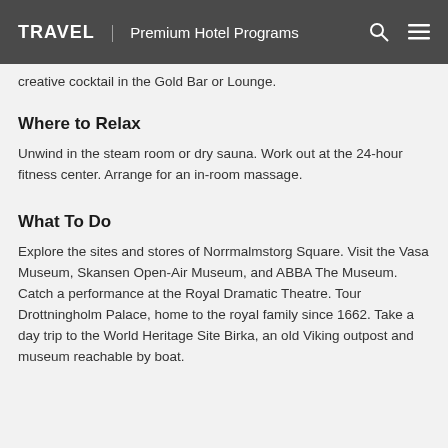TRAVEL | Premium Hotel Programs
creative cocktail in the Gold Bar or Lounge.
Where to Relax
Unwind in the steam room or dry sauna. Work out at the 24-hour fitness center. Arrange for an in-room massage.
What To Do
Explore the sites and stores of Norrmalmstorg Square. Visit the Vasa Museum, Skansen Open-Air Museum, and ABBA The Museum. Catch a performance at the Royal Dramatic Theatre. Tour Drottningholm Palace, home to the royal family since 1662. Take a day trip to the World Heritage Site Birka, an old Viking outpost and museum reachable by boat.